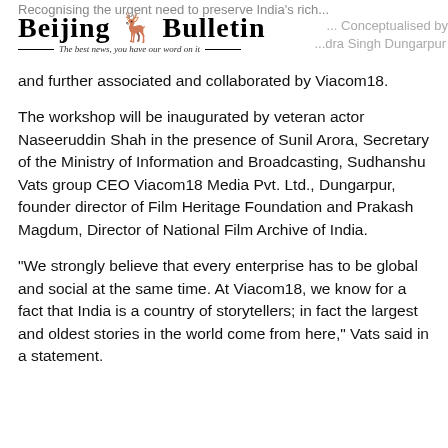Recognising the urgent need to preserve India's rich...
[Figure (logo): Beijing Bulletin newspaper logo with moose icon and tagline 'The best news, you have our word on it']
and further associated and collaborated by Viacom18.
The workshop will be inaugurated by veteran actor Naseeruddin Shah in the presence of Sunil Arora, Secretary of the Ministry of Information and Broadcasting, Sudhanshu Vats group CEO Viacom18 Media Pvt. Ltd., Dungarpur, founder director of Film Heritage Foundation and Prakash Magdum, Director of National Film Archive of India.
"We strongly believe that every enterprise has to be global and social at the same time. At Viacom18, we know for a fact that India is a country of storytellers; in fact the largest and oldest stories in the world come from here," Vats said in a statement.